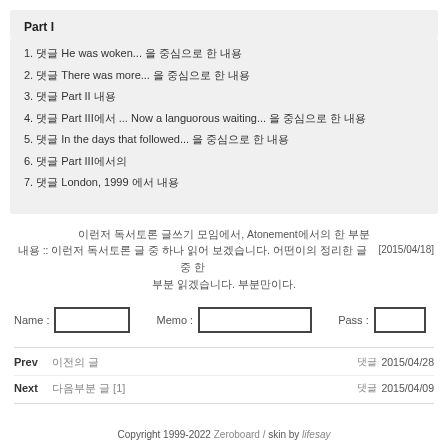Part I
1. 댓글 He was woken... 을 중심으로 한 내용
2. 댓글 There was more... 을 중심으로 한 내용
3. 댓글 Part II 내용
4. 댓글 Part III에서 ... Now a languorous waiting... 을 중심으로 한 내용
5. 댓글 In the days that followed... 을 중심으로 한 내용
6. 댓글 Part III에서의
7. 댓글 London, 1999 에서 내용
이런저 독서토론 글쓰기 모임에서, Atonement에서의 한 부분 내용 :: 이런저 독서토론 글 중 하나 읽어 보겠습니다. 어떤이의 정리한 글 중 한 부분 읽겠습니다. 부분만이다.   [2015/04/18]
Name :   Memo :   Pass :
Prev  이전의 글  댓글  2015/04/28
Next  다음부분 글 [1]  댓글  2015/04/09
Copyright 1999-2022 Zeroboard / skin by lifesay